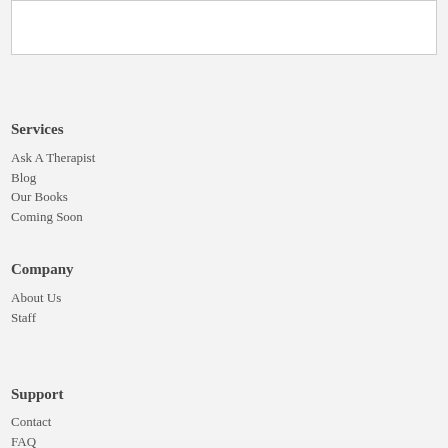[Figure (other): White rectangular box with border at the top of the page]
Services
Ask A Therapist
Blog
Our Books
Coming Soon
Company
About Us
Staff
Support
Contact
FAQ